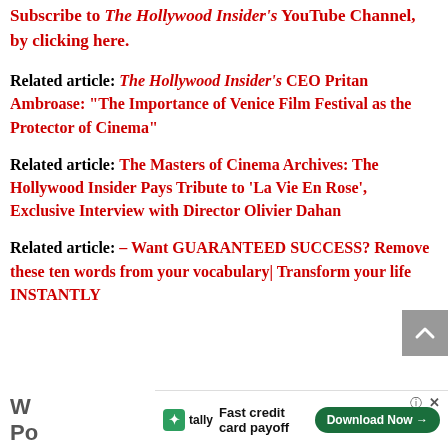Subscribe to The Hollywood Insider's YouTube Channel, by clicking here.
Related article: The Hollywood Insider's CEO Pritan Ambroase: “The Importance of Venice Film Festival as the Protector of Cinema”
Related article: The Masters of Cinema Archives: The Hollywood Insider Pays Tribute to ‘La Vie En Rose’, Exclusive Interview with Director Olivier Dahan
Related article: – Want GUARANTEED SUCCESS? Remove these ten words from your vocabulary| Transform your life INSTANTLY
[Figure (screenshot): Advertisement banner: Tally app ad with green download button and close/help icons]